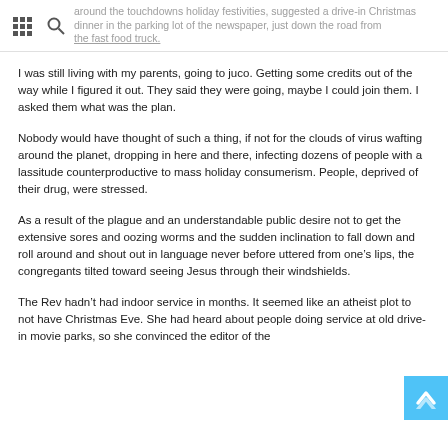around the touchdowns holiday festivities, suggested a drive-in Christmas dinner in the parking lot of the newspaper, just down the road from the fast food truck.
I was still living with my parents, going to juco. Getting some credits out of the way while I figured it out. They said they were going, maybe I could join them. I asked them what was the plan.
Nobody would have thought of such a thing, if not for the clouds of virus wafting around the planet, dropping in here and there, infecting dozens of people with a lassitude counterproductive to mass holiday consumerism. People, deprived of their drug, were stressed.
As a result of the plague and an understandable public desire not to get the extensive sores and oozing worms and the sudden inclination to fall down and roll around and shout out in language never before uttered from one's lips, the congregants tilted toward seeing Jesus through their windshields.
The Rev hadn't had indoor service in months. It seemed like an atheist plot to not have Christmas Eve. She had heard about people doing service at old drive-in movie parks, so she convinced the editor of the